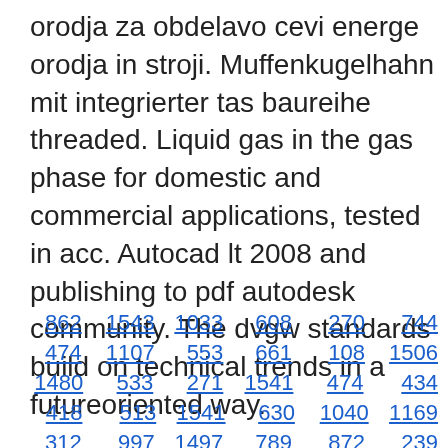orodja za obdelavo cevi energe orodja in stroji. Muffenkugelhahn mit integrierter tas baureihe threaded. Liquid gas in the gas phase for domestic and commercial applications, tested in acc. Autocad lt 2008 and publishing to pdf autodesk community. The dvgw standards build on technical trends in a futureoriented way.
862  1543  1033  608  270  744
474  1107  553  661  108  1506
1480  533  271  1541  474  434
418  513  1541  630  1040  1169
312  997  1497  789  872  239